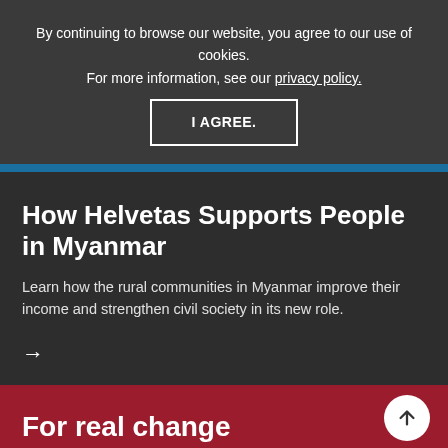By continuing to browse our website, you agree to our use of cookies. For more information, see our privacy policy.
I AGREE.
How Helvetas Supports People in Myanmar
Learn how the rural communities in Myanmar improve their income and strengthen civil society in its new role.
→
For real change